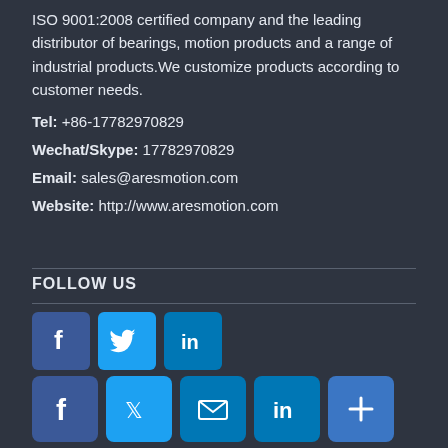ISO 9001:2008 certified company and the leading distributor of bearings, motion products and a range of industrial products.We customize products according to customer needs.
Tel: +86-17782970829
Wechat/Skype: 17782970829
Email: sales@aresmotion.com
Website: http://www.aresmotion.com
FOLLOW US
[Figure (other): Social media icons row: Facebook (blue), Twitter (light blue), LinkedIn (blue)]
[Figure (other): Social sharing icons row: Facebook, Twitter, Email, LinkedIn, Share (plus)]